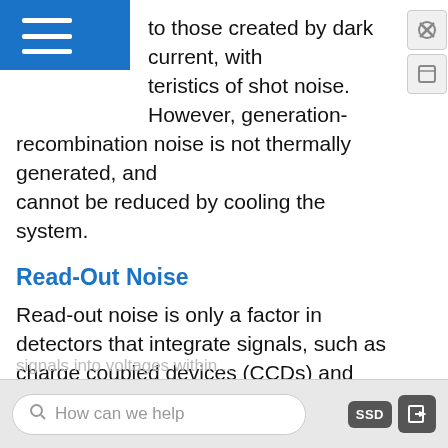to those created by dark current, with characteristics of shot noise. However, generation-recombination noise is not thermally generated, and cannot be reduced by cooling the system.
Read-Out Noise
Read-out noise is only a factor in detectors that integrate signals, such as charge coupled devices (CCDs) and complementary metal-oxide-semiconductor (CMOS) sensors. These detectors collect and store charge over an extended period of time, and when the charge collection is complete, the accumulated charge is "read off" the collection grid, a process which involves moving packets of charge between multiple electrodes for measurement, or